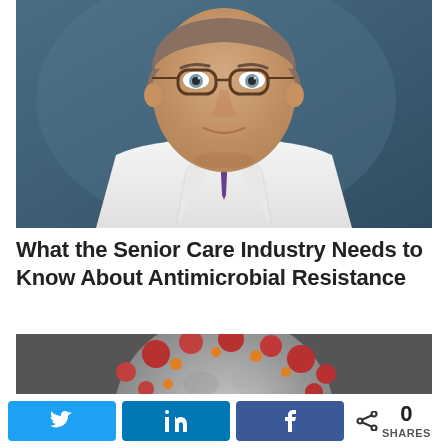[Figure (photo): Professional headshot of a middle-aged male doctor wearing glasses, a white lab coat, and a purple tie, against a blue-grey background.]
What the Senior Care Industry Needs to Know About Antimicrobial Resistance
[Figure (photo): Close-up scientific illustration or photograph of a virus/bacterium with red and orange spike proteins on a grey spherical body.]
0 SHARES